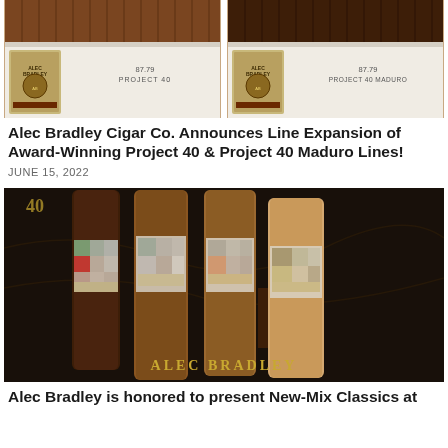[Figure (photo): Two white cigar boxes side by side, left box labeled '87.79 PROJECT 40', right box labeled '87.79 PROJECT 40 MADURO', each filled with rows of cigars at the top]
Alec Bradley Cigar Co. Announces Line Expansion of Award-Winning Project 40 & Project 40 Maduro Lines!
JUNE 15, 2022
[Figure (photo): Four cigars standing upright against a dark background with Alec Bradley branding. The cigars have pixelated/blurred band labels. Gold text reads ALEC BRADLEY at the bottom.]
Alec Bradley is honored to present New-Mix Classics at